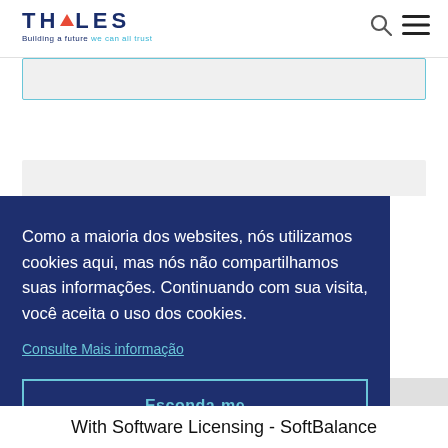[Figure (logo): Thales logo with triangle icon and tagline 'Building a future we can all trust']
[Figure (screenshot): Search icon and hamburger menu icon in page header]
Como a maioria dos websites, nós utilizamos cookies aqui, mas nós não compartilhamos suas informações. Continuando com sua visita, você aceita o uso dos cookies.
Consulte Mais informação
Esconda-me
With Software Licensing - SoftBalance